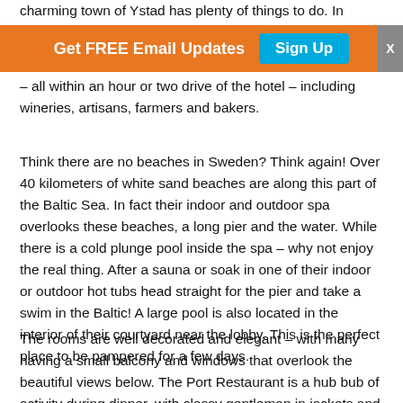charming town of Ystad has plenty of things to do. In
– all within an hour or two drive of the hotel – including wineries, artisans, farmers and bakers.
Think there are no beaches in Sweden? Think again! Over 40 kilometers of white sand beaches are along this part of the Baltic Sea. In fact their indoor and outdoor spa overlooks these beaches, a long pier and the water. While there is a cold plunge pool inside the spa – why not enjoy the real thing. After a sauna or soak in one of their indoor or outdoor hot tubs head straight for the pier and take a swim in the Baltic! A large pool is also located in the interior of their courtyard near the lobby. This is the perfect place to be pampered for a few days.
The rooms are well decorated and elegant – with many having a small balcony and windows that overlook the beautiful views below. The Port Restaurant is a hub bub of activity during dinner, with classy gentleman in jackets and